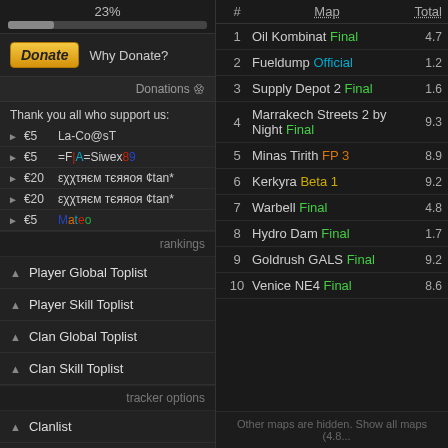23%
Donate   Why Donate?
Donations
Thank you all who support us:
€5  La-Co@sT
€5  =F|A=Siwex89
€20  εχχτяєм тєяяoя ¢tan*
€20  εχχτяєм тєяяoя ¢tan*
€5  Mateo
rankings
Player Global Toplist
Player Skill Toplist
Clan Global Toplist
Clan Skill Toplist
tracker options
Clanlist
Player Search
Server List/Search
| # | Map | Total |
| --- | --- | --- |
| 1 | Oil Kombinat Final | 4.7 |
| 2 | Fueldump Official | 1.2 |
| 3 | Supply Depot 2 Final | 1.6 |
| 4 | Marrakech Streets 2 by Night Final | 9.3 |
| 5 | Minas Tirith FP 3 | 8.9 |
| 6 | Kerkyra Beta 1 | 9.2 |
| 7 | Warbell Final | 4.8 |
| 8 | Hydro Dam Final | 1.7 |
| 9 | Goldrush GALS Final | 9.2 |
| 10 | Venice NE4 Final | 8.6 |
Other maps are hidden. Show all maps   (4.8...)